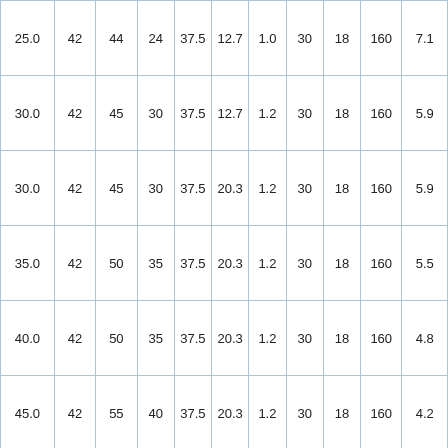| 25.0 | 42 | 44 | 24 | 37.5 | 12.7 | 1.0 | 30 | 18 | 160 | 7.1 |
| 30.0 | 42 | 45 | 30 | 37.5 | 12.7 | 1.2 | 30 | 18 | 160 | 5.9 |
| 30.0 | 42 | 45 | 30 | 37.5 | 20.3 | 1.2 | 30 | 18 | 160 | 5.9 |
| 35.0 | 42 | 50 | 35 | 37.5 | 20.3 | 1.2 | 30 | 18 | 160 | 5.5 |
| 40.0 | 42 | 50 | 35 | 37.5 | 20.3 | 1.2 | 30 | 18 | 160 | 4.8 |
| 45.0 | 42 | 55 | 40 | 37.5 | 20.3 | 1.2 | 30 | 18 | 160 | 4.2 |